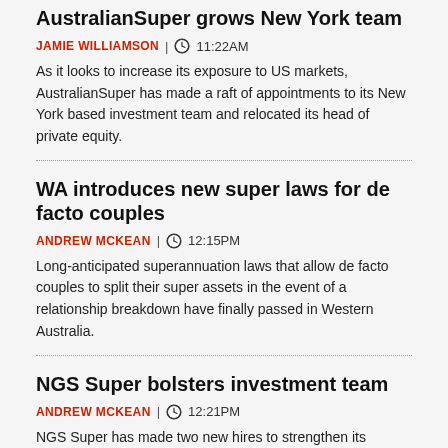AustralianSuper grows New York team
JAMIE WILLIAMSON  |  11:22AM
As it looks to increase its exposure to US markets, AustralianSuper has made a raft of appointments to its New York based investment team and relocated its head of private equity.
WA introduces new super laws for de facto couples
ANDREW MCKEAN  |  12:15PM
Long-anticipated superannuation laws that allow de facto couples to split their super assets in the event of a relationship breakdown have finally passed in Western Australia.
NGS Super bolsters investment team
ANDREW MCKEAN  |  12:21PM
NGS Super has made two new hires to strengthen its capabilities in international and Australian equities, as the fund works toward a carbon-neutral investment portfolio by 2030.